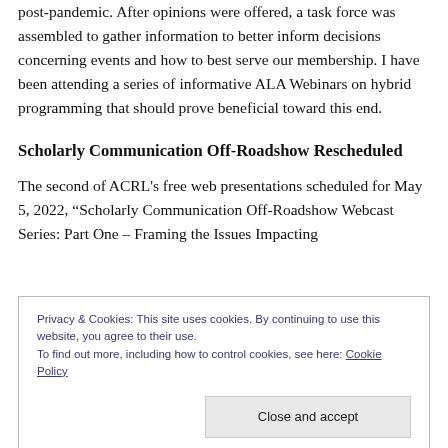post-pandemic. After opinions were offered, a task force was assembled to gather information to better inform decisions concerning events and how to best serve our membership. I have been attending a series of informative ALA Webinars on hybrid programming that should prove beneficial toward this end.
Scholarly Communication Off-Roadshow Rescheduled
The second of ACRL's free web presentations scheduled for May 5, 2022, “Scholarly Communication Off-Roadshow Webcast Series: Part One – Framing the Issues Impacting
Privacy & Cookies: This site uses cookies. By continuing to use this website, you agree to their use.
To find out more, including how to control cookies, see here: Cookie Policy